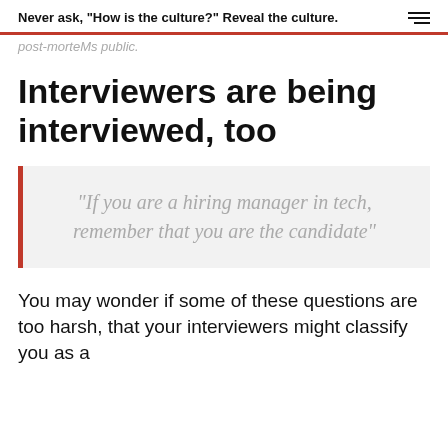Never ask, "How is the culture?" Reveal the culture.
post-morteMs public.
Interviewers are being interviewed, too
“If you are a hiring manager in tech, remember that you are the candidate”
You may wonder if some of these questions are too harsh, that your interviewers might classify you as a